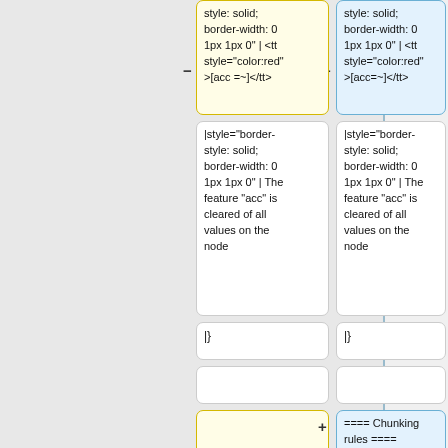[Figure (other): Diff comparison view showing two columns of wiki markup cells. Left column (yellow-bordered) and right column (blue-bordered) showing parallel content. Row 1: both columns show 'style: solid; border-width: 0 1px 1px 0" | <tt style="color:red">[acc =~]</tt>' with minus/plus markers. Row 2: both show '|style="border-style: solid; border-width: 0 1px 1px 0" | The feature "acc" is cleared of all values on the node'. Row 3: both show '|}'. Row 4: empty cells (yellow left, blue right). Row 5: left empty yellow, right blue with '==== Chunking rules ===='. Row 6: left yellow with '===== Chunking rules =====' (minus marker).]